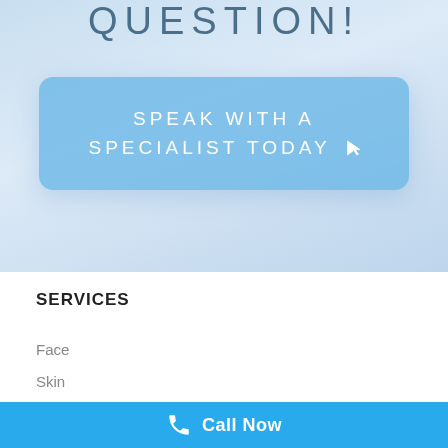QUESTION!
SPEAK WITH A SPECIALIST TODAY
SERVICES
Face
Skin
Call Now